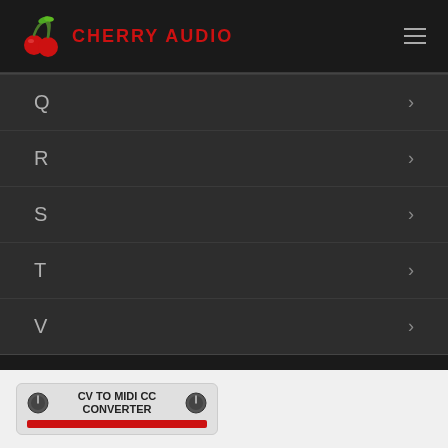CHERRY AUDIO
Q
R
S
T
V
[Figure (screenshot): CV TO MIDI CC CONVERTER plugin widget with knobs and red slider bar]